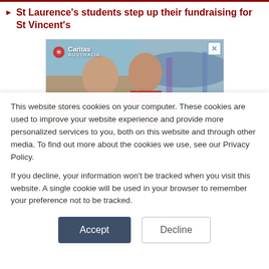St Laurence's students step up their fundraising for St Vincent's
[Figure (photo): Caritas Australia advertisement showing a young family (woman, man, and baby) smiling, seated indoors with hammocks in the background. Caritas Australia logo in top left. Close button (X) in top right.]
This website stores cookies on your computer. These cookies are used to improve your website experience and provide more personalized services to you, both on this website and through other media. To find out more about the cookies we use, see our Privacy Policy.
If you decline, your information won't be tracked when you visit this website. A single cookie will be used in your browser to remember your preference not to be tracked.